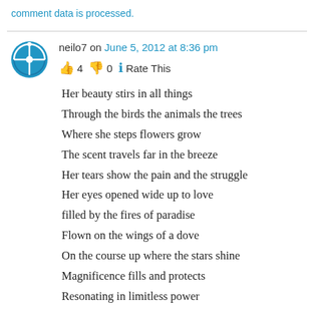comment data is processed.
neilo7 on June 5, 2012 at 8:36 pm
👍 4 👎 0 ℹ Rate This
Her beauty stirs in all things
Through the birds the animals the trees
Where she steps flowers grow
The scent travels far in the breeze
Her tears show the pain and the struggle
Her eyes opened wide up to love
filled by the fires of paradise
Flown on the wings of a dove
On the course up where the stars shine
Magnificence fills and protects
Resonating in limitless power